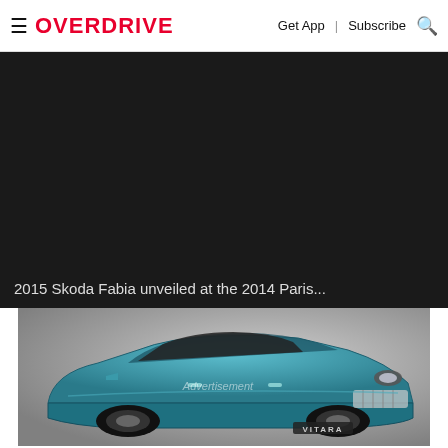OVERDRIVE | Get App | Subscribe
[Figure (other): Dark black advertisement or video placeholder block]
2015 Skoda Fabia unveiled at the 2014 Paris...
[Figure (photo): Photo of a teal/blue Suzuki Vitara SUV with 'Advertisement' watermark overlay, shown from front-quarter angle]